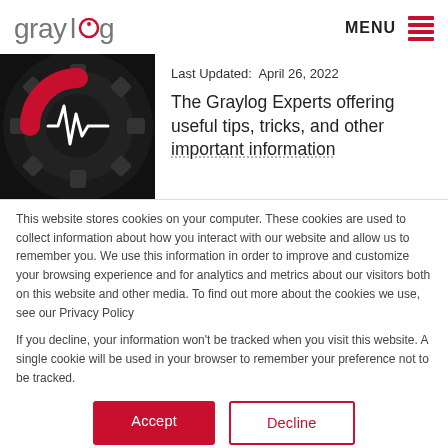[Figure (logo): Graylog logo with stylized gear/monitor icon in red and white on dark background, with text 'graylog' in gray and red]
MENU
[Figure (photo): Dark circular image with red and white Graylog icon (heartbeat/pulse symbol inside gear)]
Last Updated:  April 26, 2022
The Graylog Experts offering useful tips, tricks, and other important information
This website stores cookies on your computer. These cookies are used to collect information about how you interact with our website and allow us to remember you. We use this information in order to improve and customize your browsing experience and for analytics and metrics about our visitors both on this website and other media. To find out more about the cookies we use, see our Privacy Policy
If you decline, your information won't be tracked when you visit this website. A single cookie will be used in your browser to remember your preference not to be tracked.
Accept
Decline